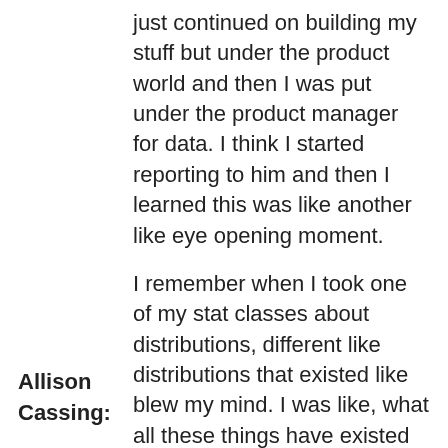just continued on building my stuff but under the product world and then I was put under the product manager for data. I think I started reporting to him and then I learned this was like another like eye opening moment.
I remember when I took one of my stat classes about distributions, different like distributions that existed like blew my mind. I was like, what all these things have existed and I had no idea that they're like controlling the way that things work or like they describe the way that the world works. That was a big eye opening moment for me and then coming to MediaMath product team, it was like I learned how to write user stories and work with engineers. That
Allison Cassing: